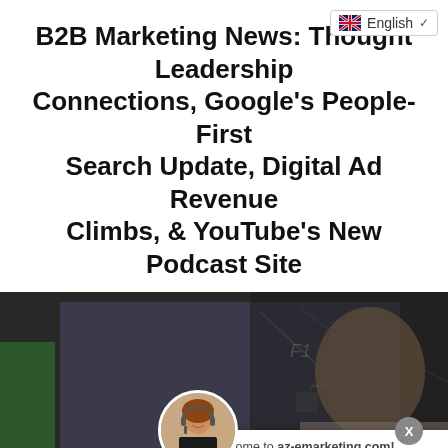B2B Marketing News: Thought Leadership Connections, Google's People-First Search Update, Digital Ad Revenue Climbs, & YouTube's New Podcast Site
[Figure (screenshot): A screenshot showing a business professional at a computer with a whiteboard in background. A chat popup overlay reads 'Welcome to az-emarketing.com!' and 'Welcome to Our Store'. An agent avatar (woman with headset) is shown. A language selector showing English flag is in top right. Image banner at bottom shows 'ital-First B2B Marketing & Digital Asset Managen'. A send/chat button with badge showing 0 is at bottom right.]